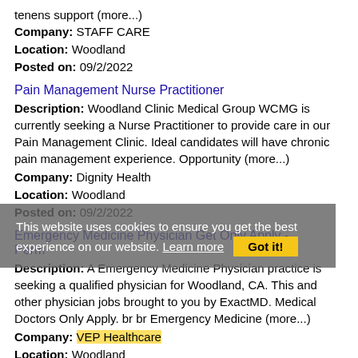tenens support (more...)
Company: STAFF CARE
Location: Woodland
Posted on: 09/2/2022
Pain Management Nurse Practitioner
Description: Woodland Clinic Medical Group WCMG is currently seeking a Nurse Practitioner to provide care in our Pain Management Clinic. Ideal candidates will have chronic pain management experience. Opportunity (more...)
Company: Dignity Health
Location: Woodland
Posted on: 09/2/2022
Emergency Medicine Physician Get Only Apply - Perm
Description: A Emergency Medicine Physician practice is seeking a qualified physician for Woodland, CA. This and other physician jobs brought to you by ExactMD. Medical Doctors Only Apply. br br Emergency Medicine (more...)
Company: VEP Healthcare
Location: Woodland
Posted on: 09/2/2022